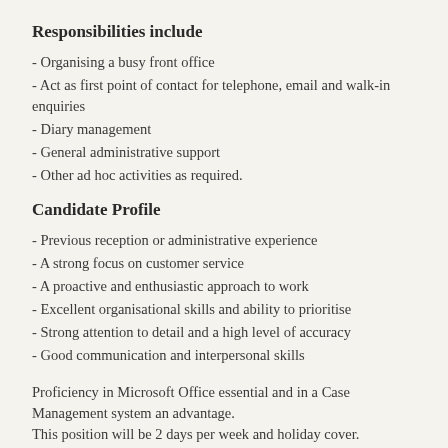Responsibilities include
Organising a busy front office
Act as first point of contact for telephone, email and walk-in enquiries
Diary management
General administrative support
Other ad hoc activities as required.
Candidate Profile
Previous reception or administrative experience
A strong focus on customer service
A proactive and enthusiastic approach to work
Excellent organisational skills and ability to prioritise
Strong attention to detail and a high level of accuracy
Good communication and interpersonal skills
Proficiency in Microsoft Office essential and in a Case Management system an advantage.
This position will be 2 days per week and holiday cover.
Salary will be commensurate with experience